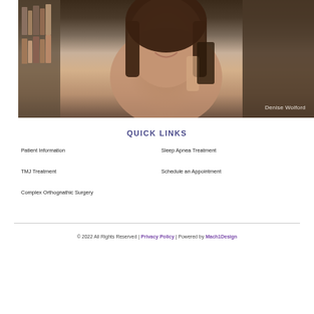[Figure (photo): A smiling woman (Denise Wolford) holding a phone, with bookshelves in background. Photo credit text reads 'Denise Wolford' in bottom right corner.]
QUICK LINKS
Patient Information
Sleep Apnea Treatment
TMJ Treatment
Schedule an Appointment
Complex Orthognathic Surgery
© 2022 All Rights Reserved | Privacy Policy | Powered by Mach1Design